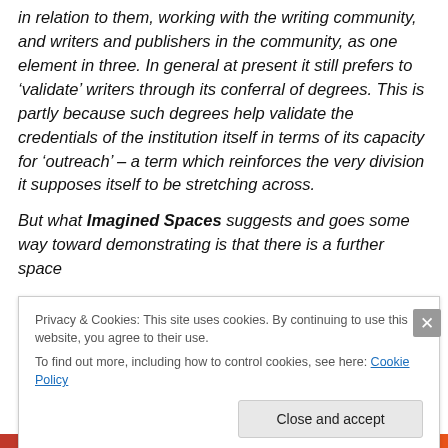in relation to them, working with the writing community, and writers and publishers in the community, as one element in three. In general at present it still prefers to 'validate' writers through its conferral of degrees. This is partly because such degrees help validate the credentials of the institution itself in terms of its capacity for 'outreach' – a term which reinforces the very division it supposes itself to be stretching across.

But what Imagined Spaces suggests and goes some way toward demonstrating is that there is a further space
Privacy & Cookies: This site uses cookies. By continuing to use this website, you agree to their use.
To find out more, including how to control cookies, see here: Cookie Policy